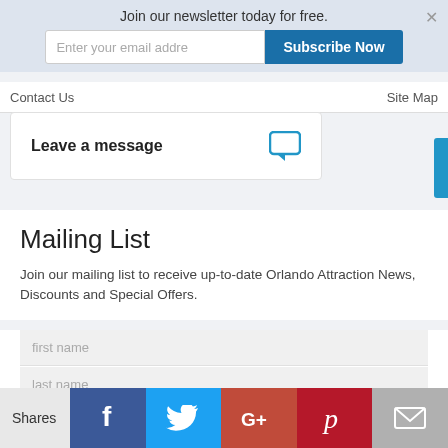Join our newsletter today for free.
Enter your email addre
Subscribe Now
Contact Us
Site Map
Leave a message
Mailing List
Join our mailing list to receive up-to-date Orlando Attraction News, Discounts and Special Offers.
first name
last name
your email
Shares